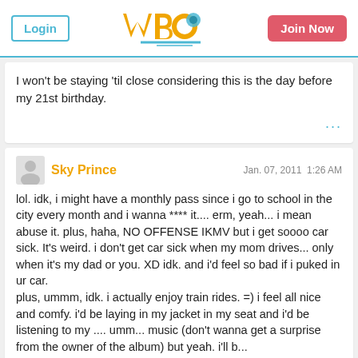Login | WBO | Join Now
I won't be staying 'til close considering this is the day before my 21st birthday.
Sky Prince — Jan. 07, 2011 1:26 AM — lol. idk, i might have a monthly pass since i go to school in the city every month and i wanna **** it.... erm, yeah... i mean abuse it. plus, haha, NO OFFENSE IKMV but i get soooo car sick. It's weird. i don't get car sick when my mom drives... only when it's my dad or you. XD idk. and i'd feel so bad if i puked in ur car.
plus, ummm, idk. i actually enjoy train rides. =) i feel all nice and comfy. i'd be laying in my jacket in my seat and i'd be listening to my .... umm... music (don't wanna get a surprise from the owner of the album) but yeah. i'll be...